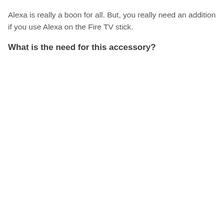Alexa is really a boon for all. But, you really need an addition if you use Alexa on the Fire TV stick.
What is the need for this accessory?